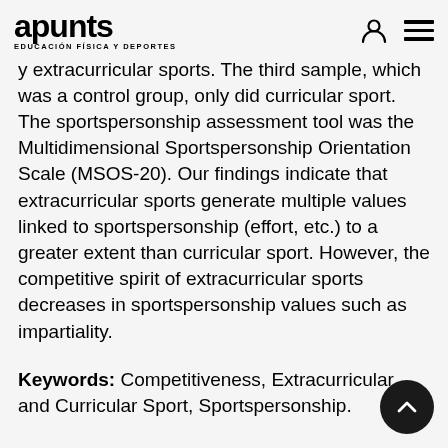apunts EDUCACIÓN FÍSICA Y DEPORTES
y extracurricular sports. The third sample, which was a control group, only did curricular sport. The sportspersonship assessment tool was the Multidimensional Sportspersonship Orientation Scale (MSOS-20). Our findings indicate that extracurricular sports generate multiple values linked to sportspersonship (effort, etc.) to a greater extent than curricular sport. However, the competitive spirit of extracurricular sports decreases in sportspersonship values such as impartiality.
Keywords: Competitiveness, Extracurricular and Curricular Sport, Sportspersonship.